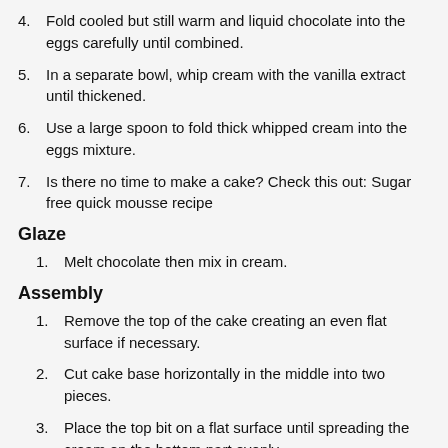4. Fold cooled but still warm and liquid chocolate into the eggs carefully until combined.
5. In a separate bowl, whip cream with the vanilla extract until thickened.
6. Use a large spoon to fold thick whipped cream into the eggs mixture.
7. Is there no time to make a cake? Check this out: Sugar free quick mousse recipe
Glaze
1. Melt chocolate then mix in cream.
Assembly
1. Remove the top of the cake creating an even flat surface if necessary.
2. Cut cake base horizontally in the middle into two pieces.
3. Place the top bit on a flat surface until spreading the cream on the bottom part evenly.
4. Place the other part back on the top.
5. Pour chocolate glazing on top of the pastry and spread it out